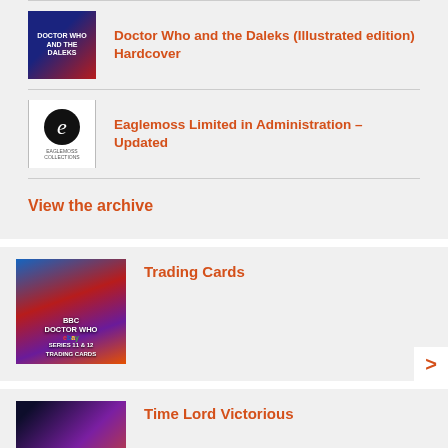Doctor Who and the Daleks (Illustrated edition) Hardcover
Eaglemoss Limited in Administration – Updated
View the archive
[Figure (photo): Doctor Who eBay Series 11 & 12 Trading Cards product image]
Trading Cards
[Figure (photo): Time Lord Victorious promotional artwork featuring Doctor Who characters]
Time Lord Victorious